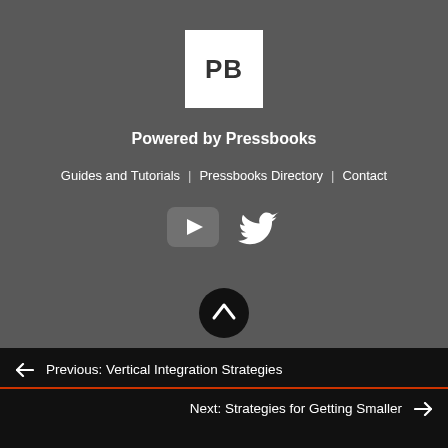[Figure (logo): Pressbooks logo: white square with bold black letters PB]
Powered by Pressbooks
Guides and Tutorials | Pressbooks Directory | Contact
[Figure (illustration): Social media icons: YouTube play button icon and Twitter bird icon, both white on rounded rectangle backgrounds]
[Figure (illustration): Scroll to top button: black circle with white upward arrow]
← Previous: Vertical Integration Strategies
Next: Strategies for Getting Smaller →